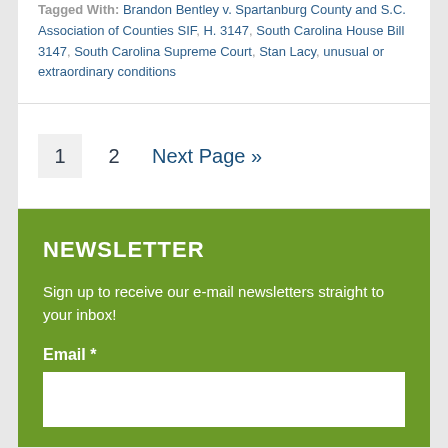Tagged With: Brandon Bentley v. Spartanburg County and S.C. Association of Counties SIF, H. 3147, South Carolina House Bill 3147, South Carolina Supreme Court, Stan Lacy, unusual or extraordinary conditions
1  2  Next Page »
NEWSLETTER
Sign up to receive our e-mail newsletters straight to your inbox!
Email *